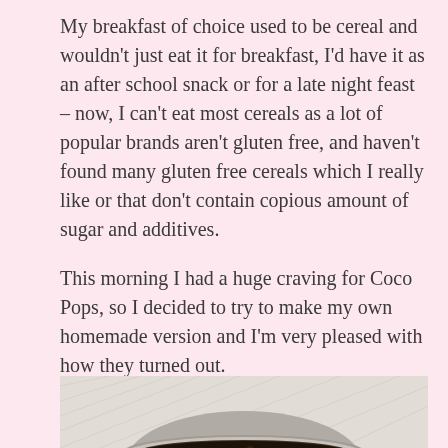My breakfast of choice used to be cereal and wouldn't just eat it for breakfast, I'd have it as an after school snack or for a late night feast – now, I can't eat most cereals as a lot of popular brands aren't gluten free, and haven't found many gluten free cereals which I really like or that don't contain copious amount of sugar and additives.
This morning I had a huge craving for Coco Pops, so I decided to try to make my own homemade version and I'm very pleased with how they turned out.
[Figure (photo): A bowl of homemade chocolate cereal (Coco Pops alternative) photographed from above on a light background]